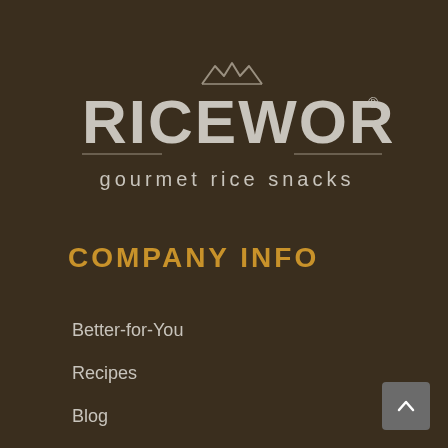[Figure (logo): Riceworks gourmet rice snacks logo — white/grey text on dark brown background with mountain/triangle icon above the brand name]
COMPANY INFO
Better-for-You
Recipes
Blog
Where to Buy
FAQ